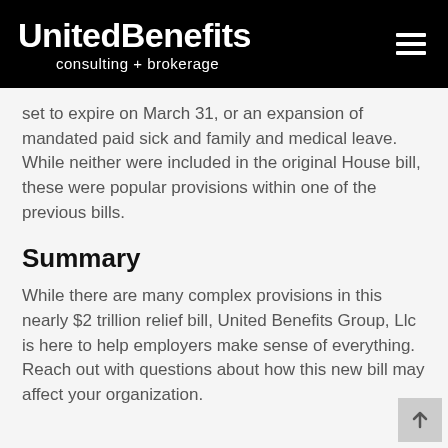UnitedBenefits consulting + brokerage
set to expire on March 31, or an expansion of mandated paid sick and family and medical leave. While neither were included in the original House bill, these were popular provisions within one of the previous bills.
Summary
While there are many complex provisions in this nearly $2 trillion relief bill, United Benefits Group, Llc is here to help employers make sense of everything. Reach out with questions about how this new bill may affect your organization.